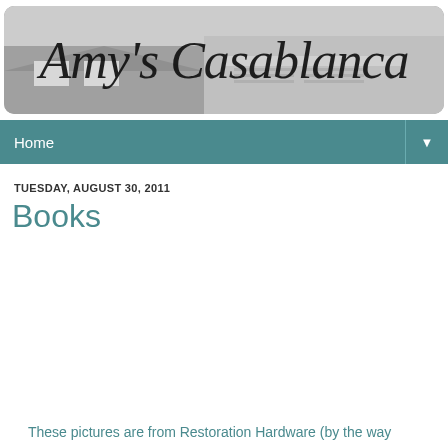[Figure (photo): Gray-scale banner image of a house/building with the cursive script text 'Amy's Casablanca' overlaid on top, displayed inside a rounded-corner rectangle.]
Home ▼
TUESDAY, AUGUST 30, 2011
Books
These pictures are from Restoration Hardware (by the way